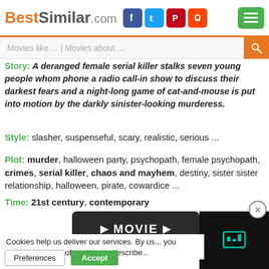BestSimilar.com
Movies like ... | Movies about ...
Story: A deranged female serial killer stalks seven young people whom phone a radio call-in show to discuss their darkest fears and a night-long game of cat-and-mouse is put into motion by the darkly sinister-looking murderess.
Style: slasher, suspenseful, scary, realistic, serious ...
Plot: murder, halloween party, psychopath, female psychopath, crimes, serial killer, chaos and mayhem, destiny, sister sister relationship, halloween, pirate, cowardice ...
Time: 21st century, contemporary
[Figure (screenshot): Movie play button with dark background panel and close button]
Cookies help us deliver our services. By us... you agree to our use of cookies as describe...
Preferences  Accept